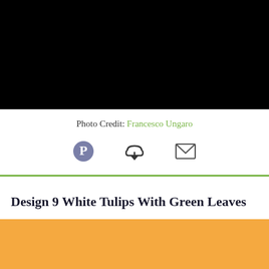[Figure (photo): Black rectangular image at top of page]
Photo Credit: Francesco Ungaro
[Figure (infographic): Row of three icons: Pinterest pin icon, cloud download icon, envelope/mail icon]
Design 9 White Tulips With Green Leaves
[Figure (photo): Orange/amber colored box with partial text 'We must learn the']